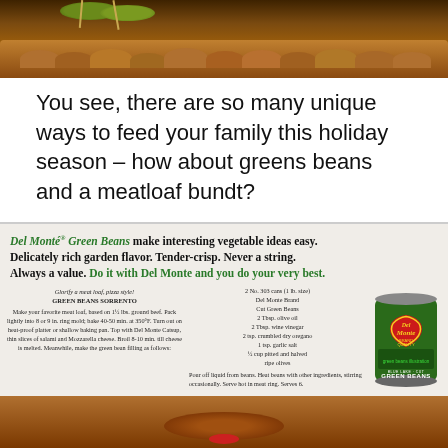[Figure (photo): Top portion of a food photo showing olives on skewers and bread/crackers on a wooden board]
You see, there are so many unique ways to feed your family this holiday season – how about greens beans and a meatloaf bundt?
[Figure (photo): Del Monte Green Beans vintage advertisement. Headline reads: 'Del Monté Green Beans make interesting vegetable ideas easy. Delicately rich garden flavor. Tender-crisp. Never a string. Always a value. Do it with Del Monte and you do your very best.' Includes recipe for GREEN BEANS SORRENTO and image of Del Monte Green Beans can. Bottom shows food photo of completed dish.]